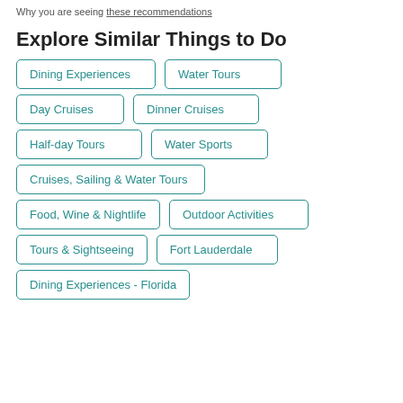Why you are seeing these recommendations
Explore Similar Things to Do
Dining Experiences
Water Tours
Day Cruises
Dinner Cruises
Half-day Tours
Water Sports
Cruises, Sailing & Water Tours
Food, Wine & Nightlife
Outdoor Activities
Tours & Sightseeing
Fort Lauderdale
Dining Experiences - Florida